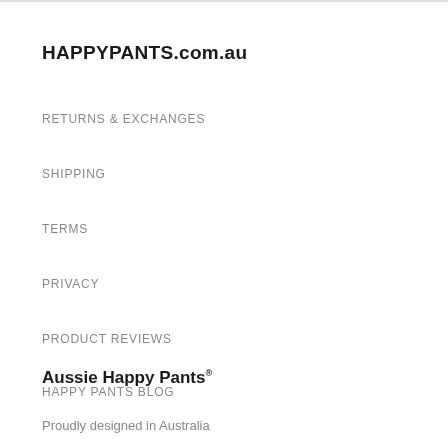HAPPYPANTS.com.au
RETURNS & EXCHANGES
SHIPPING
TERMS
PRIVACY
PRODUCT REVIEWS
HAPPY PANTS BLOG
Aussie Happy Pants®
Proudly designed in Australia